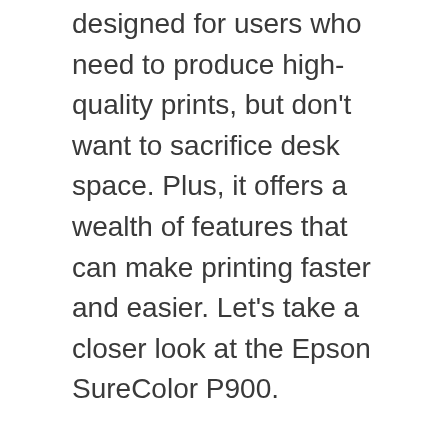designed for users who need to produce high-quality prints, but don't want to sacrifice desk space. Plus, it offers a wealth of features that can make printing faster and easier. Let's take a closer look at the Epson SureColor P900.
One of the best things about the Epson SureColor P900 is its print quality. This printer can produce stunning prints with incredible detail. In fact, it's capable of printing resolutions up to 2880 x 1440 dpi. So, regardless of what you're printing, you can be sure that the results will be impressive.
Another great feature of the SureColor P900 is